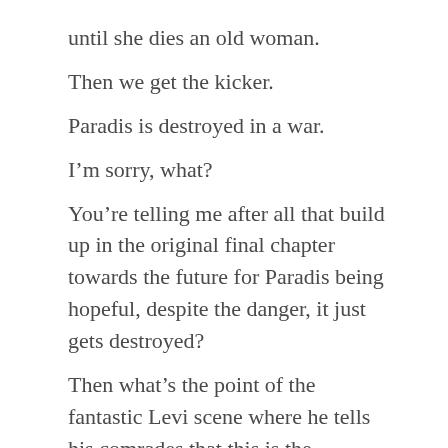until she dies an old woman.
Then we get the kicker.
Paradis is destroyed in a war.
I'm sorry, what?
You're telling me after all that build up in the original final chapter towards the future for Paradis being hopeful, despite the danger, it just gets destroyed?
Then what's the point of the fantastic Levi scene where he tells his comrades that this is the outcome they sacrificed their lives for?
They didn't sacrifice their lives just for the island to be destroyed.
This contradicts so much that was in the original final chapter.
In that first ending, it felt like Isayama keeping Paradis'